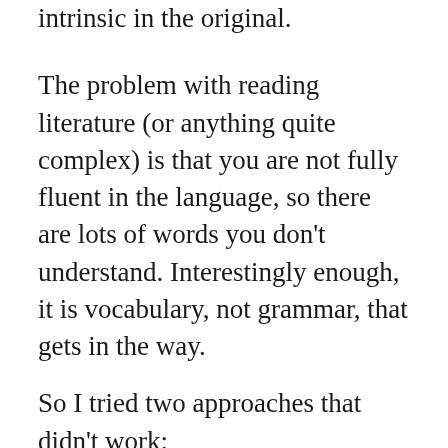intrinsic in the original.
The problem with reading literature (or anything quite complex) is that you are not fully fluent in the language, so there are lots of words you don't understand. Interestingly enough, it is vocabulary, not grammar, that gets in the way.
So I tried two approaches that didn't work:
Look up every word I didn't know. This doesn't work because it gets very tiring!